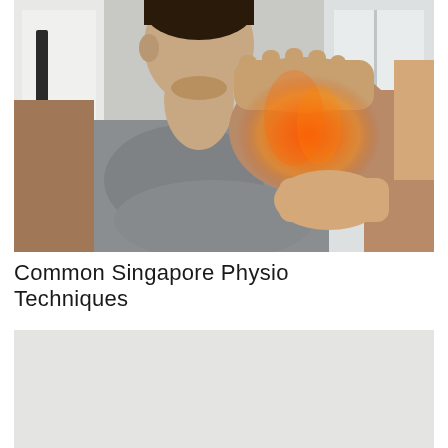[Figure (photo): A physiotherapist's hands treating a patient's shoulder. The patient is a young man wearing a grey sleeveless shirt. The shoulder area is highlighted with a red/orange glow indicating pain or inflammation. One hand of the therapist is on top of the shoulder and another supports from behind. Background shows a clinical/indoor setting with a window.]
Common Singapore Physio Techniques
[Figure (photo): Partially visible photo with a light grey/white background, appears to be the top portion of another physiotherapy-related image, cut off at the bottom of the page.]